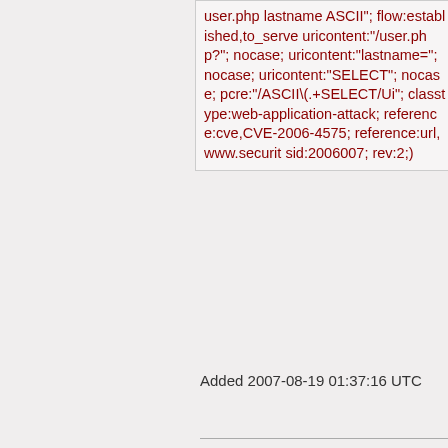user.php lastname ASCII"; flow:established,to_server; uricontent:"/user.php?"; nocase; uricontent:"lastname="; nocase; uricontent:"SELECT"; nocase; pcre:"/ASCII\(.+SELECT/Ui"; classtype:web-application-attack; reference:cve,CVE-2006-4575; reference:url,www.securit sid:2006007; rev:2;)
Added 2007-08-19 01:37:16 UTC